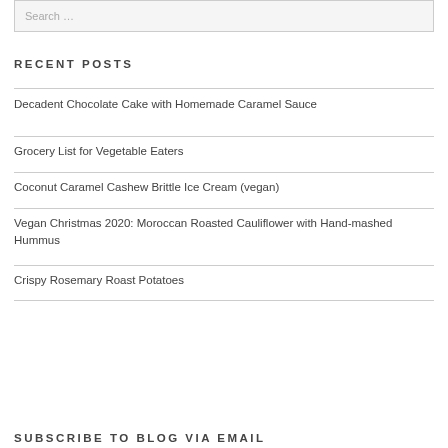RECENT POSTS
Decadent Chocolate Cake with Homemade Caramel Sauce
Grocery List for Vegetable Eaters
Coconut Caramel Cashew Brittle Ice Cream (vegan)
Vegan Christmas 2020: Moroccan Roasted Cauliflower with Hand-mashed Hummus
Crispy Rosemary Roast Potatoes
SUBSCRIBE TO BLOG VIA EMAIL